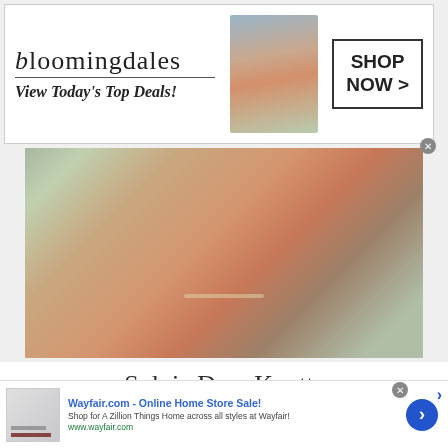[Figure (screenshot): Bloomingdales advertisement banner with logo, tagline 'View Today's Top Deals!', model photo with wide-brim hat, and 'SHOP NOW >' button]
[Figure (photo): Close-up photo of person wearing a necklace, with blurred floral background]
Sylvia Dare Knotts
[Figure (screenshot): Website footer with Mountain Statesman newspaper name and address: 914 W. Main St Grafton WV 26354]
[Figure (screenshot): Wayfair.com advertisement: 'Wayfair.com - Online Home Store Sale! Shop for A Zillion Things Home across all styles at Wayfair! www.wayfair.com' with arrow button]